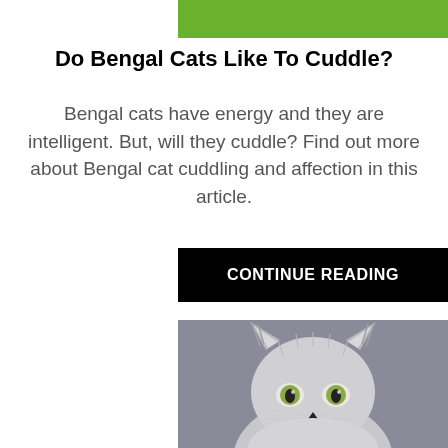[Figure (photo): Partial photo of a Bengal cat or similar cat with green background, cropped at top]
Do Bengal Cats Like To Cuddle?
Bengal cats have energy and they are intelligent. But, will they cuddle? Find out more about Bengal cat cuddling and affection in this article.
[Figure (other): Black button with white uppercase text CONTINUE READING]
[Figure (photo): Portrait photo of a fluffy gray/white Persian or long-haired cat with yellow-green eyes against a gray background, facing camera]